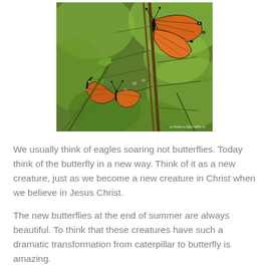[Figure (photo): Close-up photograph of two monarch butterflies (orange and black wings) perched on green plant stems and leaves, with a blurred green background. A small photo credit watermark is visible in the bottom right corner.]
We usually think of eagles soaring not butterflies.  Today think of the butterfly in a new way.  Think of it as a new creature, just as we become a new creature in Christ when we believe in Jesus Christ.
The new butterflies at the end of summer are always beautiful. To think that these creatures have such a dramatic transformation from caterpillar to butterfly is amazing.